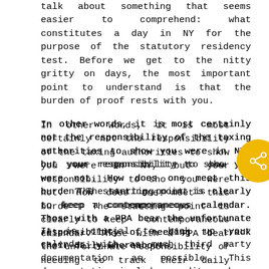talk about something that seems easier to comprehend: what constitutes a day in NY for the purpose of the statutory residency test. Before we get to the nitty gritty on days, the most important point to understand is that the burden of proof rests with you.

In other words, it is most certainly not the responsibility of the taxing authorities to show you were in NY, but your responsibility to show you were not. How does one meet this burden? The starting point is clearly to keep a contemporaneous calendar. Those with a PPA bear the unfortunate responsibility of needing to track their daily whereabouts.

It is crucial to back up your calendar with as much third party documentation as possible. This documentation includes credit card